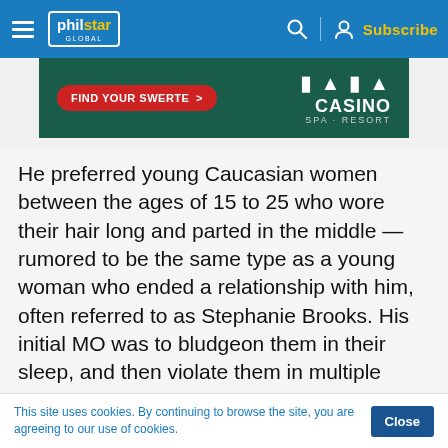philstar GLOBAL — Subscribe
[Figure (other): TALA Casino Spa Resort advertisement banner with 'FIND YOUR SWERTE >' red button on dark green background]
He preferred young Caucasian women between the ages of 15 to 25 who wore their hair long and parted in the middle — rumored to be the same type as a young woman who ended a relationship with him, often referred to as Stephanie Brooks. His initial MO was to bludgeon them in their sleep, and then violate them in multiple ways. He then escalated to faking
This site uses cookies. By continuing to browse the site, you are agreeing to our use of cookies.